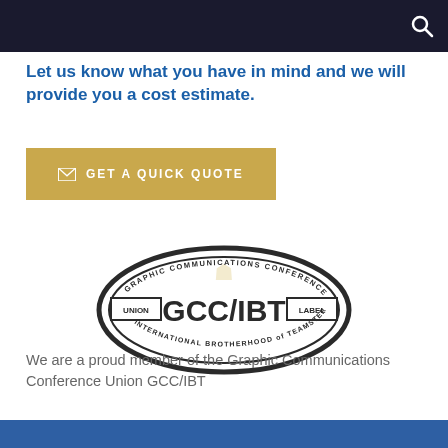Let us know what you have in mind and we will provide you a cost estimate.
GET A QUICK QUOTE
[Figure (logo): GCC/IBT Union Label logo — Graphic Communications Conference, International Brotherhood of Teamsters oval seal]
We are a proud member of the Graphic Communications Conference Union GCC/IBT